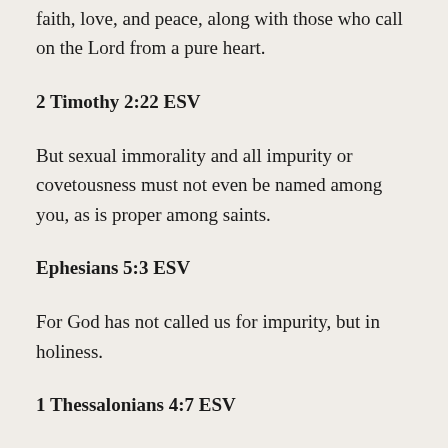faith, love, and peace, along with those who call on the Lord from a pure heart.
2 Timothy 2:22 ESV
But sexual immorality and all impurity or covetousness must not even be named among you, as is proper among saints.
Ephesians 5:3 ESV
For God has not called us for impurity, but in holiness.
1 Thessalonians 4:7 ESV